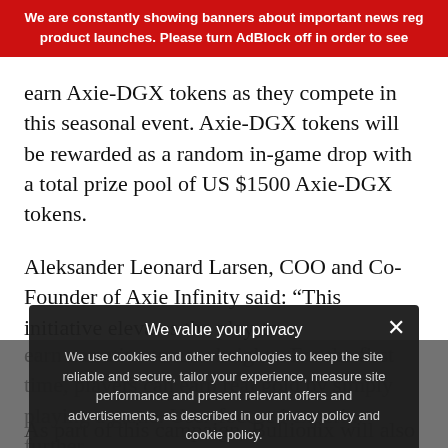We are constantly showing banners about important news reg product launches. Please turn AdBlock off in order to see
earn Axie-DGX tokens as they compete in this seasonal event. Axie-DGX tokens will be rewarded as a random in-game drop with a total prize pool of US $1500 Axie-DGX tokens.
Aleksander Leonard Larsen, COO and Co-Founder of Axie Infinity said: “This initiative elevates the play-to-earn narrative to new heights. For the first time, players can earn real gold by simply playing a game. User-focused experi... further...
As part of this campaign, Bullionix will also craft limited edition 3D collecti... xie-themed non-fungible tokens (NFTs) that are backed by Digix’s investment grade gold. ... onix collectible has 0.25 DGX staked on-chain their lab... the holder of
[Figure (screenshot): Cookie consent overlay popup with title 'We value your privacy', description about cookies and privacy policy, Privacy Preferences link, and I Agree button. Dark semi-transparent background.]